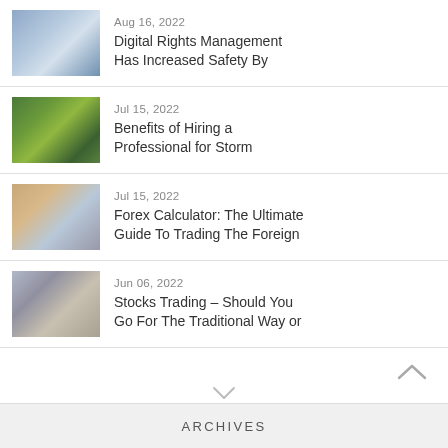Aug 16, 2022 — Digital Rights Management Has Increased Safety By
Jul 15, 2022 — Benefits of Hiring a Professional for Storm
Jul 15, 2022 — Forex Calculator: The Ultimate Guide To Trading The Foreign
Jun 06, 2022 — Stocks Trading – Should You Go For The Traditional Way or
ARCHIVES